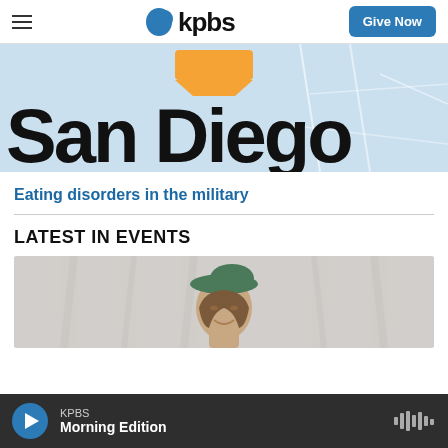KPBS
[Figure (screenshot): KPBS website screenshot showing San Diego map image header with 'San Diego' text, a news link about eating disorders in the military, a Latest in Events section with a photo of a woman wearing a green hat, and an audio player bar at the bottom showing KPBS Morning Edition.]
Eating disorders in the military
LATEST IN EVENTS
KPBS Morning Edition